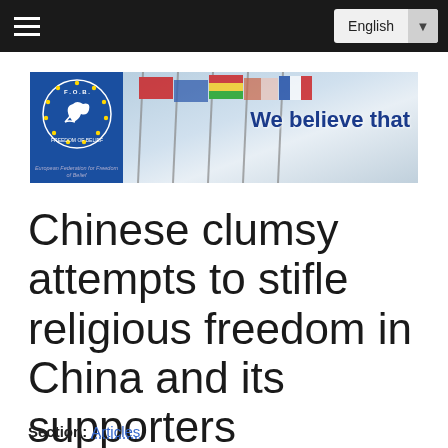English
[Figure (logo): European Federation for Freedom of Belief (F.O.B.) banner with logo on the left showing a dove and stars on blue background with text 'European Federation for Freedom of Belief', and on the right flags in background with blue text 'We believe that']
Chinese clumsy attempts to stifle religious freedom in China and its supporters everywhere
Section:  Articles